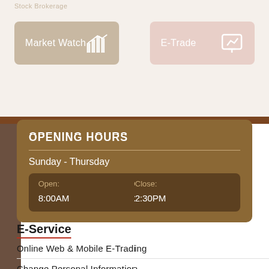Stock Brokerage
Market Watch
E-Trade
OPENING HOURS
Sunday - Thursday
| Open: | Close: |
| --- | --- |
| 8:00AM | 2:30PM |
E-Service
Online Web & Mobile E-Trading
Change Personal Information
Register here to open an account